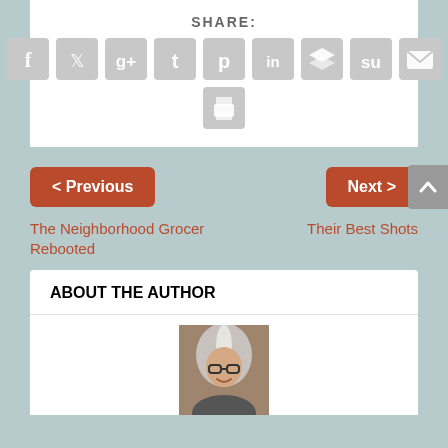SHARE:
[Figure (other): Social media sharing icons: Facebook, Twitter, Google+, Tumblr, Pinterest, LinkedIn, Buffer, StumbleUpon, Email, Print]
< Previous
Next >
The Neighborhood Grocer Rebooted
Their Best Shots
ABOUT THE AUTHOR
[Figure (photo): Author photo: woman with long gray and white hair and glasses, smiling]